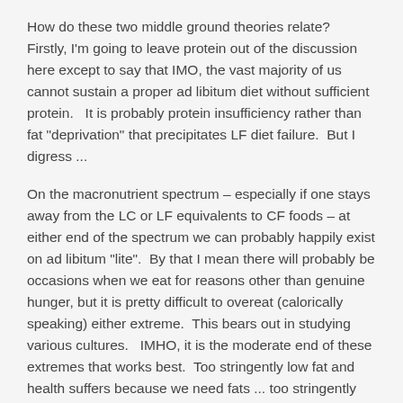How do these two middle ground theories relate?  Firstly, I'm going to leave protein out of the discussion here except to say that IMO, the vast majority of us cannot sustain a proper ad libitum diet without sufficient protein.   It is probably protein insufficiency rather than fat "deprivation" that precipitates LF diet failure.  But I digress ...
On the macronutrient spectrum – especially if one stays away from the LC or LF equivalents to CF foods – at either end of the spectrum we can probably happily exist on ad libitum "lite".  By that I mean there will probably be occasions when we eat for reasons other than genuine hunger, but it is pretty difficult to overeat (calorically speaking) either extreme.  This bears out in studying various cultures.   IMHO, it is the moderate end of these extremes that works best.  Too stringently low fat and health suffers because we need fats ... too stringently low carb is just unsustainable for many people, and I have reservations as to the long term healthfulness of a VLC/ketogenic diet.  There's something about your body